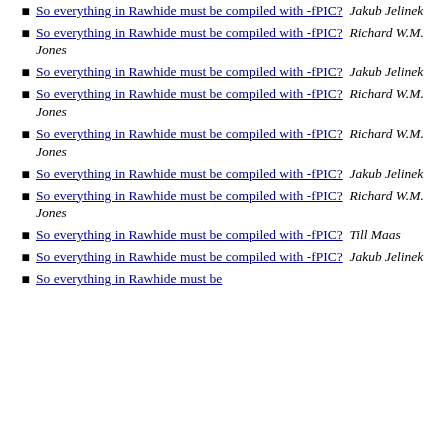So everything in Rawhide must be compiled with -fPIC?  Richard W.M. Jones
So everything in Rawhide must be compiled with -fPIC?  Jakub Jelinek
So everything in Rawhide must be compiled with -fPIC?  Richard W.M. Jones
So everything in Rawhide must be compiled with -fPIC?  Jakub Jelinek
So everything in Rawhide must be compiled with -fPIC?  Richard W.M. Jones
So everything in Rawhide must be compiled with -fPIC?  Richard W.M. Jones
So everything in Rawhide must be compiled with -fPIC?  Jakub Jelinek
So everything in Rawhide must be compiled with -fPIC?  Richard W.M. Jones
So everything in Rawhide must be compiled with -fPIC?  Till Maas
So everything in Rawhide must be compiled with -fPIC?  Jakub Jelinek
So everything in Rawhide must be compiled with -fPIC?